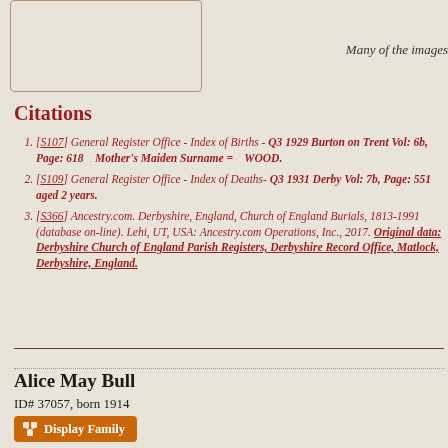Many of the images
Citations
[S107] General Register Office - Index of Births - Q3 1929 Burton on Trent Vol: 6b, Page: 518    Mother's Maiden Surname =    WOOD.
[S109] General Register Office - Index of Deaths- Q3 1931 Derby Vol: 7b, Page: 551 aged 2 years.
[S366] Ancestry.com. Derbyshire, England, Church of England Burials, 1813-1991 (database on-line). Lehi, UT, USA: Ancestry.com Operations, Inc., 2017. Original data: Derbyshire Church of England Parish Registers, Derbyshire Record Office, Matlock, Derbyshire, England.
Alice May Bull
ID# 37057, born 1914
Display Family
Father* Albert Bull born 13 Jun. 1883, died Jan. 1960